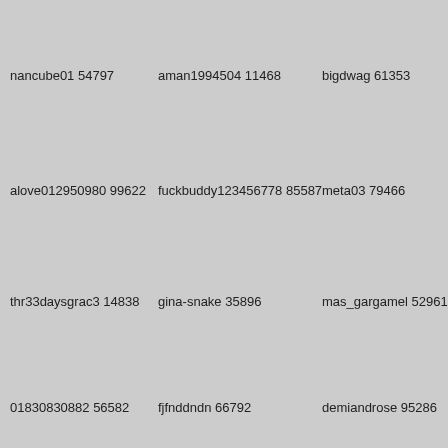nancube01 54797
aman1994504 11468
bigdwag 61353
alove012950980 99622
fuckbuddy123456778 85587
meta03 79466
thr33daysgrac3 14838
gina-snake 35896
mas_gargamel 52961
01830830882 56582
fjfnddndn 66792
demiandrose 95286